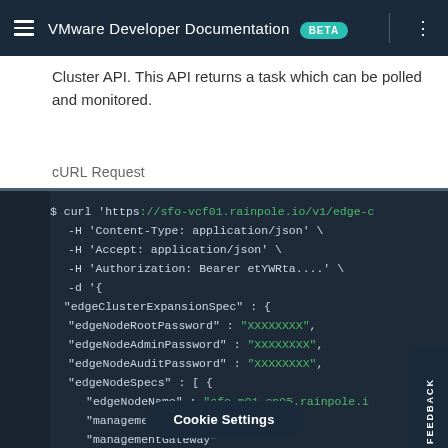VMware Developer Documentation BETA
Cluster API. This API returns a task which can be polled and monitored.
cURL Request
$ curl 'https://sfo-vcf01.rainpole.io/v1/edge-c
     -H 'Content-Type: application/json' \
     -H 'Accept: application/json' \
     -H 'Authorization: Bearer etYWRta....' \
     -d '{
  "edgeClusterExpansionSpec" : {
    "edgeNodeRootPassword" : "XXXXXXXX",
    "edgeNodeAdminPassword" : "XXXXXXXX",
    "edgeNodeAuditPassword" : "XXXXXXXX",
    "edgeNodeSpecs" : [ {
      "edgeNodeName" : "sfo-m01-en05.rainpole.i
      "managementIP" : "10.0.0.55/24"
      "managementGateway"
      "edgeTepGateway" :